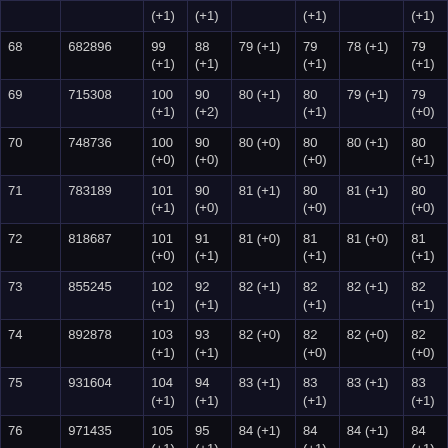|  |  | (+1) | (+1) |  | (+1) |  | (+1) |
| --- | --- | --- | --- | --- | --- | --- | --- |
| 68 | 682896 | 99
(+1) | 88
(+1) | 79 (+1) | 79
(+1) | 78 (+1) | 79
(+1) |
| 69 | 715308 | 100
(+1) | 90
(+2) | 80 (+1) | 80
(+1) | 79 (+1) | 79
(+0) |
| 70 | 748736 | 100
(+0) | 90
(+0) | 80 (+0) | 80
(+0) | 80 (+1) | 80
(+1) |
| 71 | 783189 | 101
(+1) | 90
(+0) | 81 (+1) | 80
(+0) | 81 (+1) | 80
(+0) |
| 72 | 818687 | 101
(+0) | 91
(+1) | 81 (+0) | 81
(+1) | 81 (+0) | 81
(+1) |
| 73 | 855245 | 102
(+1) | 92
(+1) | 82 (+1) | 82
(+1) | 82 (+1) | 82
(+1) |
| 74 | 892878 | 103
(+1) | 93
(+1) | 82 (+0) | 82
(+0) | 82 (+0) | 82
(+0) |
| 75 | 931604 | 104
(+1) | 94
(+1) | 83 (+1) | 83
(+1) | 83 (+1) | 83
(+1) |
| 76 | 971435 | 105
(+1) | 95
(+1) | 84 (+1) | 84
(+1) | 84 (+1) | 84
(+1) |